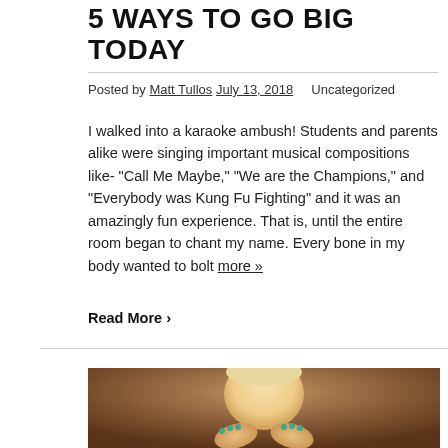5 WAYS TO GO BIG TODAY
Posted by Matt Tullos July 13, 2018   Uncategorized
I walked into a karaoke ambush! Students and parents alike were singing important musical compositions like- "Call Me Maybe," "We are the Champions," and "Everybody was Kung Fu Fighting" and it was an amazingly fun experience. That is, until the entire room began to chant my name. Every bone in my body wanted to bolt more »
Read More ›
[Figure (photo): A baby or young child with light blonde hair, hands raised near face, with painted/colored fingernails, photographed against a warm brown background.]